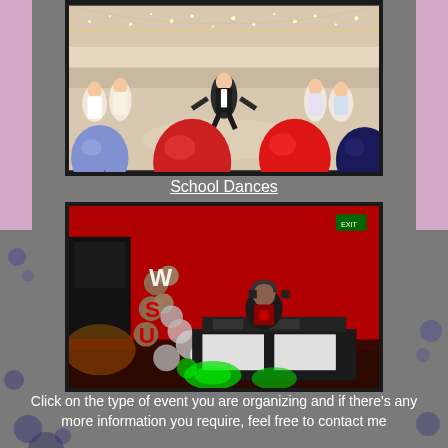[Figure (photo): School prom/dance scene with people dancing in formal attire, red and blue balloons in foreground, bright lights in background]
School Dances
[Figure (photo): DJ booth setup at a school dance with WSU balloon letters, green and white balloons, red ambient lighting, DJ behind equipment]
Click on the type of event you are organizing and if there's any more information you require, feel free to contact me